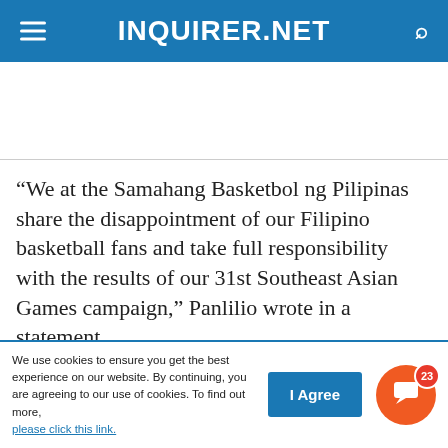INQUIRER.NET
“We at the Samahang Basketbol ng Pilipinas share the disappointment of our Filipino basketball fans and take full responsibility with the results of our 31st Southeast Asian Games campaign,” Panlilio wrote in a statement.
We use cookies to ensure you get the best experience on our website. By continuing, you are agreeing to our use of cookies. To find out more, please click this link.